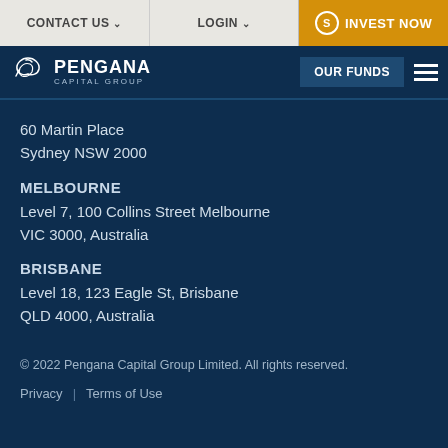CONTACT US | LOGIN | INVEST NOW
[Figure (logo): Pengana Capital Group logo with stylized bird icon]
60 Martin Place
Sydney NSW 2000
MELBOURNE
Level 7, 100 Collins Street Melbourne
VIC 3000, Australia
BRISBANE
Level 18, 123 Eagle St, Brisbane
QLD 4000, Australia
© 2022 Pengana Capital Group Limited. All rights reserved.
Privacy | Terms of Use